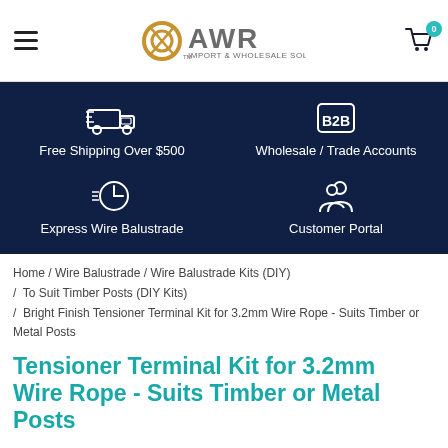AWR Import & Wholesale Solutions — navigation header with logo, hamburger menu, and cart (0)
[Figure (infographic): Dark navy banner with four service icons and labels: Free Shipping Over $500, Wholesale / Trade Accounts, Express Wire Balustrade, Customer Portal]
Home / Wire Balustrade / Wire Balustrade Kits (DIY) / To Suit Timber Posts (DIY Kits) / Bright Finish Tensioner Terminal Kit for 3.2mm Wire Rope - Suits Timber or Metal Posts
Tensioner Terminal Kit for 3.2mm Wire Rope - Suits Timber or Metal Posts